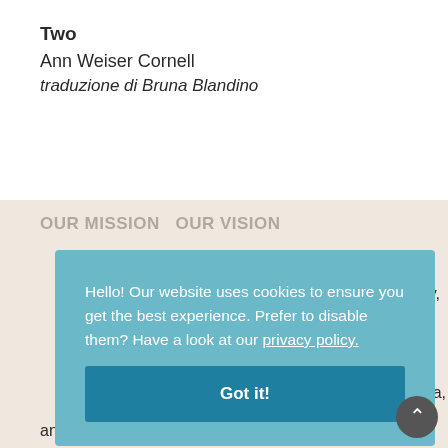Two
Ann Weiser Cornell
traduzione di Bruna Blandino
[Figure (screenshot): Cookie consent banner overlay on a webpage with teal background reading: 'Hello! Our website uses cookies to ensure you get the best experience. Prefer to disable them? Have a look at our privacy policy.' with a dark teal 'Got it!' button below.]
and how wisely and collaboratively we meet the